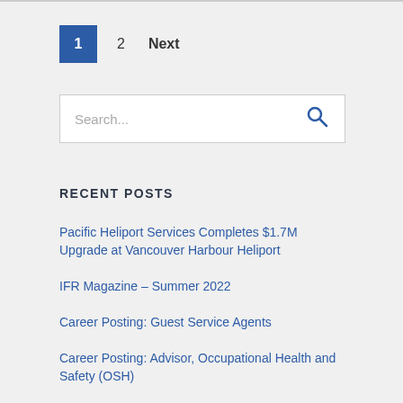1  2  Next
[Figure (other): Search input box with placeholder text 'Search...' and a search icon button on the right]
RECENT POSTS
Pacific Heliport Services Completes $1.7M Upgrade at Vancouver Harbour Heliport
IFR Magazine – Summer 2022
Career Posting: Guest Service Agents
Career Posting: Advisor, Occupational Health and Safety (OSH)